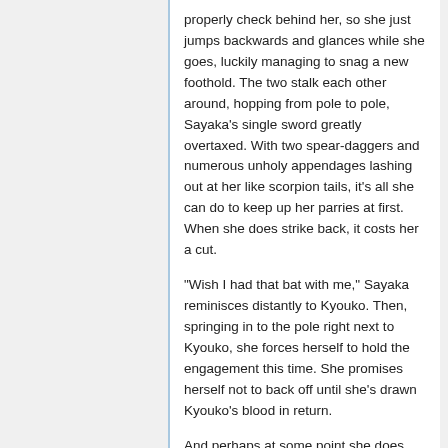properly check behind her, so she just jumps backwards and glances while she goes, luckily managing to snag a new foothold. The two stalk each other around, hopping from pole to pole, Sayaka's single sword greatly overtaxed. With two spear-daggers and numerous unholy appendages lashing out at her like scorpion tails, it's all she can do to keep up her parries at first. When she does strike back, it costs her a cut.
"Wish I had that bat with me," Sayaka reminisces distantly to Kyouko. Then, springing in to the pole right next to Kyouko, she forces herself to hold the engagement this time. She promises herself not to back off until she's drawn Kyouko's blood in return.
And perhaps at some point she does.